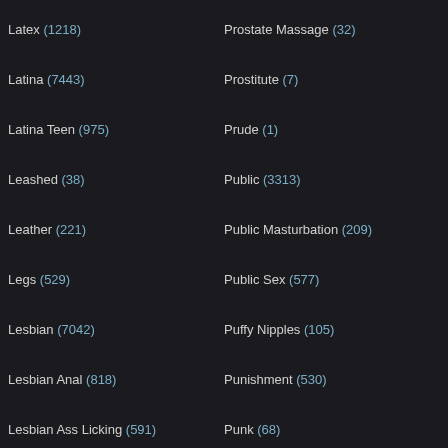Latex (1218)
Latina (7443)
Latina Teen (975)
Leashed (38)
Leather (221)
Legs (529)
Lesbian (7042)
Lesbian Anal (818)
Lesbian Ass Licking (591)
Lesbian BBW (193)
Lesbian BDSM (311)
Lesbian Bondage (191)
Lesbian Domination (133)
Lesbian Face Sitting (284)
Lesbian Feet Sex (318)
Lesbian Granny (36)
Prostate Massage (32)
Prostitute (7)
Prude (1)
Public (3313)
Public Masturbation (209)
Public Sex (577)
Puffy Nipples (105)
Punishment (530)
Punk (68)
Pussy (14845)
Pussy DP (499)
Pussy Eating (755)
Pussy Gaping (309)
Pussy Licking (1838)
Pussy Lips (119)
Pussy Pump (92)